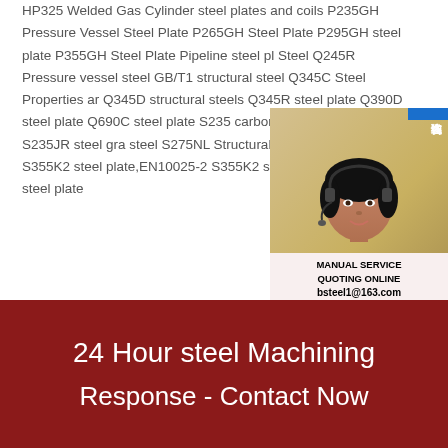HP325 Welded Gas Cylinder steel plates and coils P235GH Pressure Vessel Steel Plate P265GH Steel Plate P295GH steel plate P355GH Steel Plate Pipeline steel pl Steel Q245R Pressure vessel steel GB/T1 structural steel Q345C Steel Properties ar Q345D structural steels Q345R steel plate Q390D steel plate Q690C steel plate S235 carbon steel EN10025-2 S235JR steel gra steel S275NL Structural steel S355J2+N s S355K2 steel plate,EN10025-2 S355K2 st EN10025-2 S420J0 steel plate
[Figure (photo): Customer service representative with headset, overlaid with chat/consultation badge in Chinese (在线咨询) and contact information: MANUAL SERVICE, QUOTING ONLINE, bsteel1@163.com]
24 Hour steel Machining
Response - Contact Now